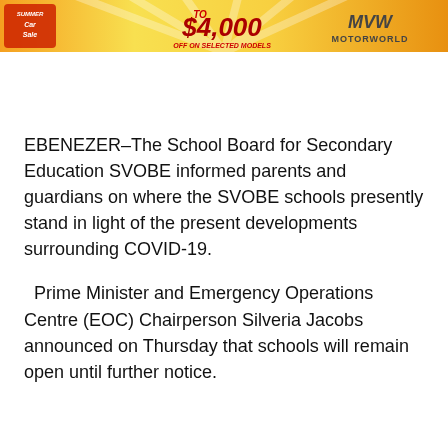[Figure (illustration): Advertisement banner for a Summer Car Sale promotion, featuring red and yellow gradient design, offering up to $4,000 off on selected models, branded with MVW Motorworld logo.]
EBENEZER–The School Board for Secondary Education SVOBE informed parents and guardians on where the SVOBE schools presently stand in light of the present developments surrounding COVID-19.
Prime Minister and Emergency Operations Centre (EOC) Chairperson Silveria Jacobs announced on Thursday that schools will remain open until further notice.